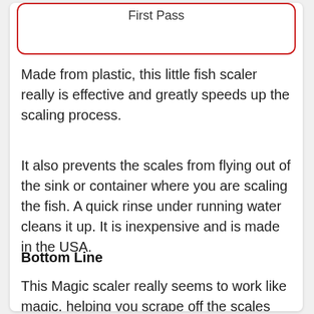[Figure (other): Red-bordered rounded box with partial text 'First Pass' at the top]
Made from plastic, this little fish scaler really is effective and greatly speeds up the scaling process.
It also prevents the scales from flying out of the sink or container where you are scaling the fish. A quick rinse under running water cleans it up. It is inexpensive and is made in the USA.
Bottom Line
This Magic scaler really seems to work like magic, helping you scrape off the scales much quicker and more cleanly than a knife